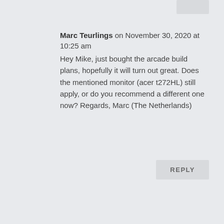Marc Teurlings on November 30, 2020 at 10:25 am
Hey Mike, just bought the arcade build plans, hopefully it will turn out great. Does the mentioned monitor (acer t272HL) still apply, or do you recommend a different one now? Regards, Marc (The Netherlands)
REPLY